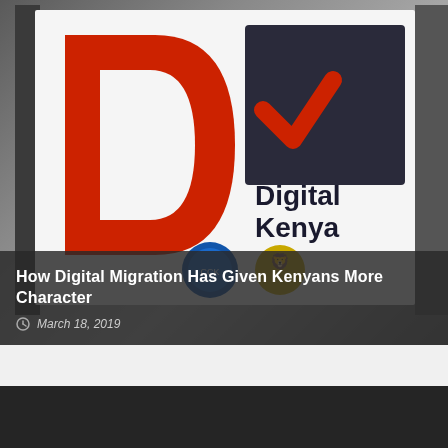[Figure (photo): Photo of a Digital Kenya logo/signage with a large red 'D' letter and a dark checkmark shape with 'Digital Kenya' text, plus circular logos at the bottom. Background shows camera equipment.]
How Digital Migration Has Given Kenyans More Character
March 18, 2019